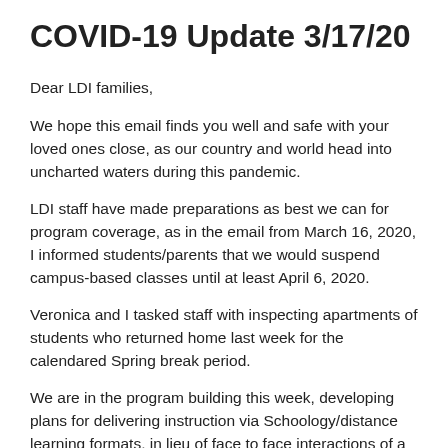COVID-19 Update 3/17/20
Dear LDI families,
We hope this email finds you well and safe with your loved ones close, as our country and world head into uncharted waters during this pandemic.
LDI staff have made preparations as best we can for program coverage, as in the email from March 16, 2020, I informed students/parents that we would suspend campus-based classes until at least April 6, 2020.
Veronica and I tasked staff with inspecting apartments of students who returned home last week for the calendared Spring break period.
We are in the program building this week, developing plans for delivering instruction via Schoology/distance learning formats, in lieu of face to face interactions of a